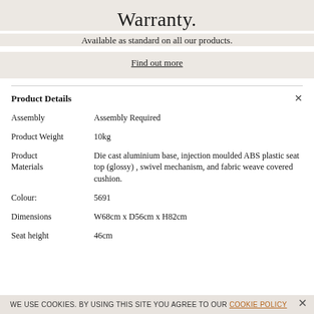Warranty.
Available as standard on all our products.
Find out more
Product Details
| Attribute | Value |
| --- | --- |
| Assembly | Assembly Required |
| Product Weight | 10kg |
| Product Materials | Die cast aluminium base, injection moulded ABS plastic seat top (glossy) , swivel mechanism, and fabric weave covered cushion. |
| Colour: | 5691 |
| Dimensions | W68cm x D56cm x H82cm |
| Seat height | 46cm |
WE USE COOKIES. BY USING THIS SITE YOU AGREE TO OUR COOKIE POLICY